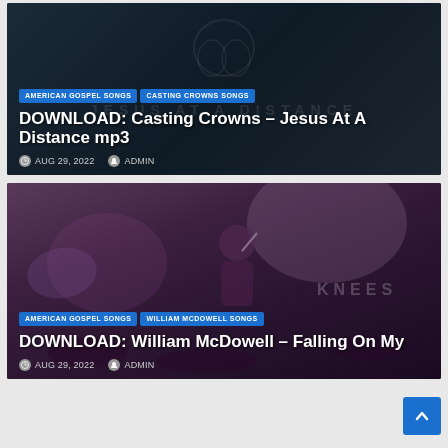[Figure (photo): Dark background card with ghost/hands logo watermark for Casting Crowns Jesus At A Distance mp3 download post]
DOWNLOAD: Casting Crowns – Jesus At A Distance mp3
AUG 29, 2022  ADMIN
[Figure (photo): Purple-toned concert photo with performer on stage for William McDowell Falling On My Knees download post]
DOWNLOAD: William McDowell – Falling On My
AUG 29, 2022  ADMIN